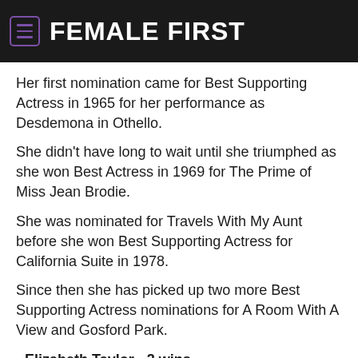FEMALE FIRST
Her first nomination came for Best Supporting Actress in 1965 for her performance as Desdemona in Othello.
She didn't have long to wait until she triumphed as she won Best Actress in 1969 for The Prime of Miss Jean Brodie.
She was nominated for Travels With My Aunt before she won Best Supporting Actress for California Suite in 1978.
Since then she has picked up two more Best Supporting Actress nominations for A Room With A View and Gosford Park.
- Elizabeth Taylor - 2 wins
Elizabeth Taylor is one of the greatest screen icons of all time appearing in some of the most iconic movies.